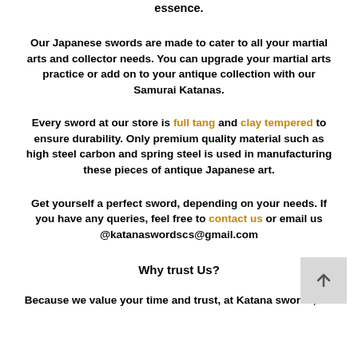essence.
Our Japanese swords are made to cater to all your martial arts and collector needs. You can upgrade your martial arts practice or add on to your antique collection with our Samurai Katanas.
Every sword at our store is full tang and clay tempered to ensure durability. Only premium quality material such as high steel carbon and spring steel is used in manufacturing these pieces of antique Japanese art.
Get yourself a perfect sword, depending on your needs. If you have any queries, feel free to contact us or email us @katanaswordscs@gmail.com
Why trust Us?
Because we value your time and trust, at Katana swords, we